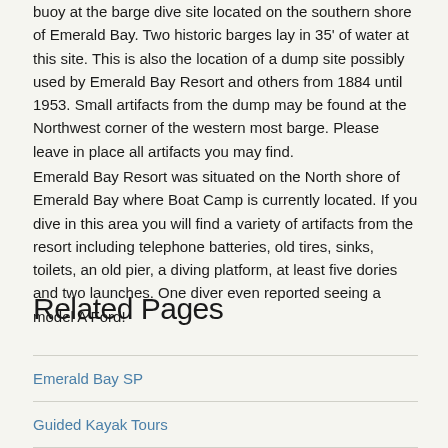buoy at the barge dive site located on the southern shore of Emerald Bay. Two historic barges lay in 35' of water at this site. This is also the location of a dump site possibly used by Emerald Bay Resort and others from 1884 until 1953. Small artifacts from the dump may be found at the Northwest corner of the western most barge. Please leave in place all artifacts you may find.
Emerald Bay Resort was situated on the North shore of Emerald Bay where Boat Camp is currently located. If you dive in this area you will find a variety of artifacts from the resort including telephone batteries, old tires, sinks, toilets, an old pier, a diving platform, at least five dories and two launches. One diver even reported seeing a model A Ford!
Related Pages
Emerald Bay SP
Guided Kayak Tours